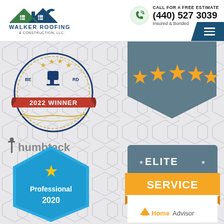[Figure (logo): Walker Roofing & Construction, LLC logo with house/roof icon in green and navy blue]
CALL FOR A FREE ESTIMATE
(440) 527 3039
Insured & Bonded
[Figure (illustration): Blue navigation toggle button (hamburger menu) in dark blue pentagon shape]
[Figure (illustration): 2022 Winner award badge - red ribbon with gold star, ornate border]
[Figure (illustration): 5-star rating badge on dark steel-blue shield/pennant shape with orange stars]
[Figure (logo): Thumbtack logo in gray text]
[Figure (illustration): Thumbtack Professional 2020 badge - blue hexagon with gold star]
[Figure (illustration): HomeAdvisor Elite Service badge - gray and orange with star icons]